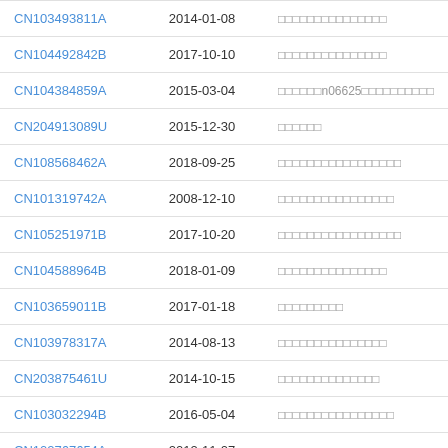| CN103493811A | 2014-01-08 | □□□□□□□□□□□□□□□ |
| CN104492842B | 2017-10-10 | □□□□□□□□□□□□□□□ |
| CN104384859A | 2015-03-04 | □□□□□□n06625□□□□□□□□□□ |
| CN204913089U | 2015-12-30 | □□□□□□ |
| CN108568462A | 2018-09-25 | □□□□□□□□□□□□□□□□□ |
| CN101319742A | 2008-12-10 | □□□□□□□□□□□□□□□□ |
| CN105251971B | 2017-10-20 | □□□□□□□□□□□□□□□□□ |
| CN104588964B | 2018-01-09 | □□□□□□□□□□□□□□□ |
| CN103659011B | 2017-01-18 | □□□□□□□□□ |
| CN103978317A | 2014-08-13 | □□□□□□□□□□□□□□□ |
| CN203875461U | 2014-10-15 | □□□□□□□□□□□□□□ |
| CN103032294B | 2016-05-04 | □□□□□□□□□□□□□□□□ |
| CN102767654A | 2012-11-07 | □□□□□□□□□□□□□□□□□ |